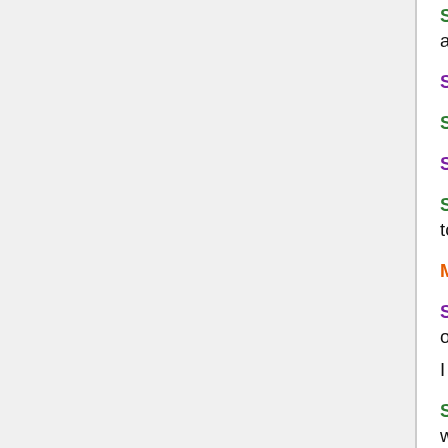Snalland - No real opinion on this one, unfortunately. But more voting is always good so I could get down with it.
Saint Songbird - That's a... flawed ideology at best.
Snalland - All ideologies are flawed, intrinsically.
Saint Songbird - Not my point.
Snalland - No, but I did state I didn't have a real opinion either way, I'm too uninformed on this topic.
Marvinville - I abstain from this topic
Saint Songbird - Does the value of the vote outweigh the time waster of the vote, is my question.
I believe in this case it does.
Snalland - It wouldn't waste much time if we could get the legislature to work efficiently.